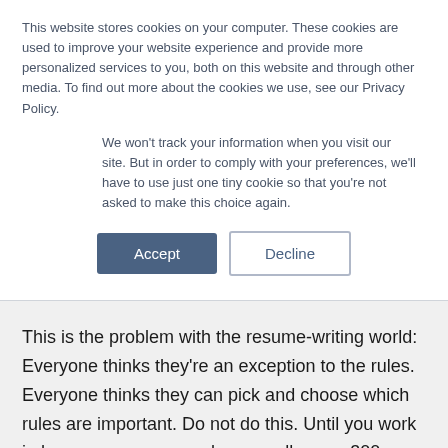This website stores cookies on your computer. These cookies are used to improve your website experience and provide more personalized services to you, both on this website and through other media. To find out more about the cookies we use, see our Privacy Policy.
We won't track your information when you visit our site. But in order to comply with your preferences, we'll have to use just one tiny cookie so that you're not asked to make this choice again.
This is the problem with the resume-writing world: Everyone thinks they're an exception to the rules. Everyone thinks they can pick and choose which rules are important. Do not do this. Until you work in human resources and personally scan 300 resumes a day, you are in no position to discard rules of resume writing. Here are the six most violated rules among the resumes that people send to me to review: